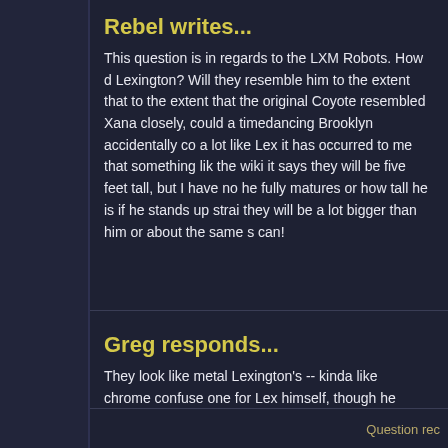Rebel writes...
This question is in regards to the LXM Robots. How d Lexington? Will they resemble him to the extent that to the extent that the original Coyote resembled Xana closely, could a timedancing Brooklyn accidentally co a lot like Lex it has occurred to me that something lik the wiki it says they will be five feet tall, but I have no he fully matures or how tall he is if he stands up strai they will be a lot bigger than him or about the same s can!
Greg responds...
They look like metal Lexington's -- kinda like chrome confuse one for Lex himself, though he couldn't help sound like Lex too.
Question rec